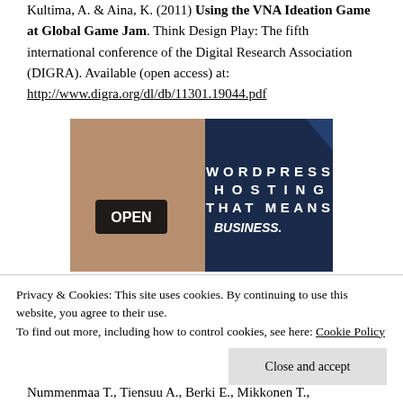Kultima, A. & Aina, K. (2011) Using the VNA Ideation Game at Global Game Jam. Think Design Play: The fifth international conference of the Digital Research Association (DIGRA). Available (open access) at: http://www.digra.org/dl/db/11301.19044.pdf
[Figure (photo): Advertisement image: a smiling woman holding an OPEN sign on the left, and dark blue background with white text reading WORDPRESS HOSTING THAT MEANS BUSINESS. on the right, with a logo in the top right corner.]
Privacy & Cookies: This site uses cookies. By continuing to use this website, you agree to their use.
To find out more, including how to control cookies, see here: Cookie Policy
Nummenmaa T., Tiensuu A., Berki E., Mikkonen T.,